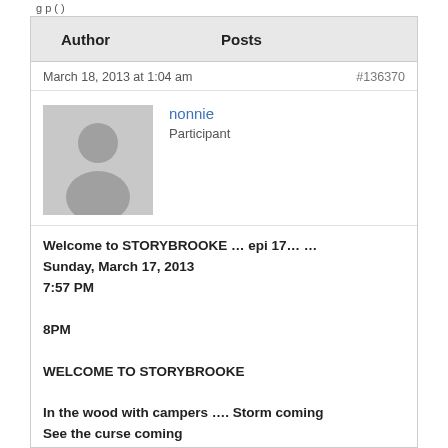g p ( )
| Author | Posts |
| --- | --- |
March 18, 2013 at 1:04 am    #136370
[Figure (illustration): Gray silhouette avatar placeholder image for user nonnie]
nonnie
Participant
Welcome to STORYBROOKE … epi 17… …
Sunday, March 17, 2013
7:57 PM

8PM

WELCOME TO STORYBROOKE

In the wood with campers …. Storm coming
See the curse coming
Purple smoke

Owen…. Tree lands on car
Hike out of
Town shown up…. Where nothing was there
Dropped the town on top of us